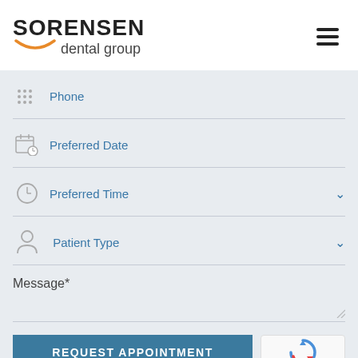[Figure (logo): Sorensen Dental Group logo with orange arc underline]
Phone
Preferred Date
Preferred Time
Patient Type
Message*
REQUEST APPOINTMENT